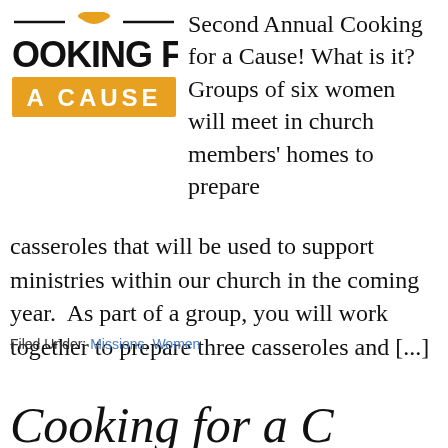[Figure (logo): Cooking for a Cause logo: horizontal lines with a pot/bowl icon above 'OOKING FOI' in bold black text, and 'A CAUSE' in bold white text on an orange rectangle background]
Second Annual Cooking for a Cause! What is it? Groups of six women will meet in church members' homes to prepare casseroles that will be used to support ministries within our church in the coming year.  As part of a group, you will work together to prepare three casseroles and [...]
Filed Under: Missions, Women
Cooking for a C...